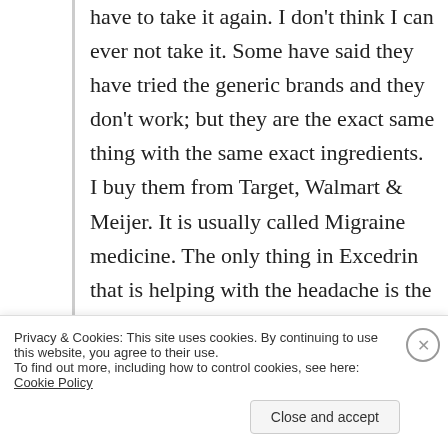have to take it again. I don't think I can ever not take it. Some have said they have tried the generic brands and they don't work; but they are the exact same thing with the same exact ingredients. I buy them from Target, Walmart & Meijer. It is usually called Migraine medicine. The only thing in Excedrin that is helping with the headache is the caffeine. If you are not a migraine sufferer and only get bad headaches than try drinking a pepsi or have a coffee. I only buy generic now and I take it every
Privacy & Cookies: This site uses cookies. By continuing to use this website, you agree to their use.
To find out more, including how to control cookies, see here: Cookie Policy